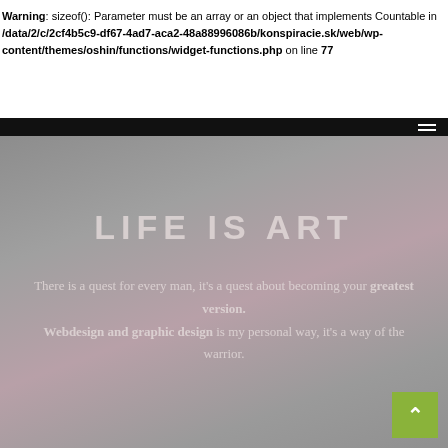Warning: sizeof(): Parameter must be an array or an object that implements Countable in /data/2/c/2cf4b5c9-df67-4ad7-aca2-48a88996086b/konspiracie.sk/web/wp-content/themes/oshin/functions/widget-functions.php on line 77
[Figure (photo): Gray-toned hero background image with subtle pinkish lighting in center, overlaid with white text reading LIFE IS ART and a quote about quest and becoming your greatest version, and webdesign and graphic design text. A green scroll-to-top button is in the bottom right.]